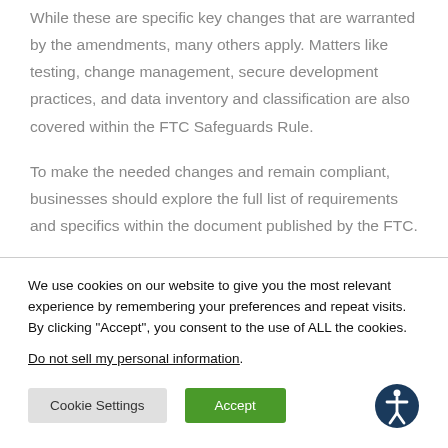While these are specific key changes that are warranted by the amendments, many others apply. Matters like testing, change management, secure development practices, and data inventory and classification are also covered within the FTC Safeguards Rule.
To make the needed changes and remain compliant, businesses should explore the full list of requirements and specifics within the document published by the FTC.
We use cookies on our website to give you the most relevant experience by remembering your preferences and repeat visits. By clicking "Accept", you consent to the use of ALL the cookies. Do not sell my personal information.